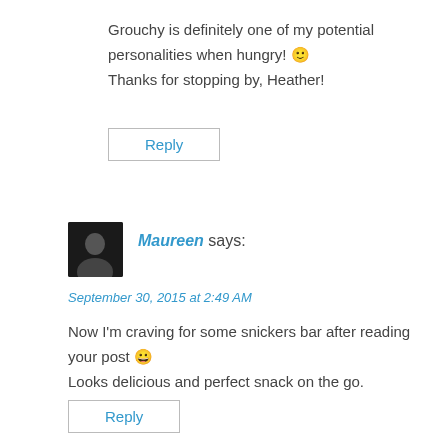Grouchy is definitely one of my potential personalities when hungry! 🙂 Thanks for stopping by, Heather!
Reply
Maureen says:
September 30, 2015 at 2:49 AM
Now I'm craving for some snickers bar after reading your post 😀 Looks delicious and perfect snack on the go.
Reply